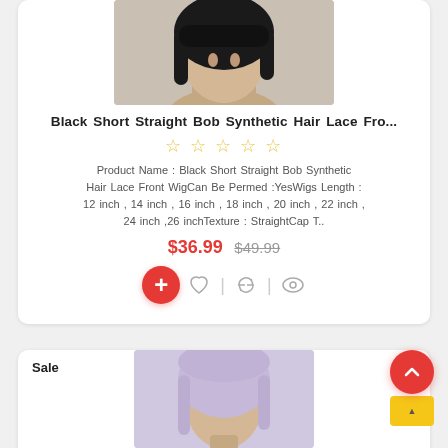[Figure (photo): Product photo of a black short straight bob synthetic hair wig on a mannequin head, top portion shown]
Black Short Straight Bob Synthetic Hair Lace Fro...
[Figure (other): Five empty star rating icons in gold/yellow]
Product Name : Black Short Straight Bob Synthetic Hair Lace Front WigCan Be Permed :YesWigs Length : 12 inch , 14 inch , 16 inch , 18 inch , 20 inch , 22 inch , 24 inch ,26 inchTexture : StraightCap T..
$36.99  $49.99
[Figure (other): Add to cart button (red circle with plus), heart icon, refresh/compare icon, eye/view icon]
Sale
[Figure (photo): Partial product photo of a light purple/lavender lace front wig on a mannequin head, bottom of card]